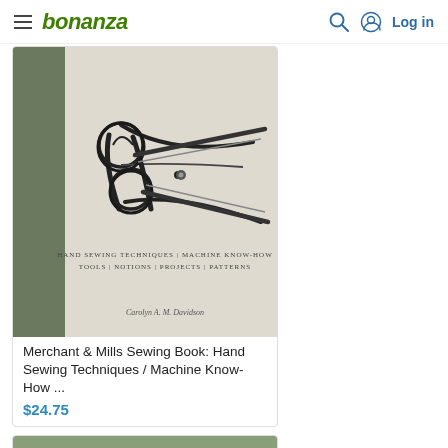bonanza — Log in
[Figure (photo): Book cover of Merchant & Mills Sewing Book showing scissors on a linen-colored background with subtitle Hand Sewing Techniques / Machine Know-How / Tools / Notions / Projects / Patterns]
Merchant & Mills Sewing Book: Hand Sewing Techniques / Machine Know-How ...
$24.75
[Figure (photo): Book cover of Colored Pencil showing yellow flowers in a decorative plate setting, partially visible at bottom of page]